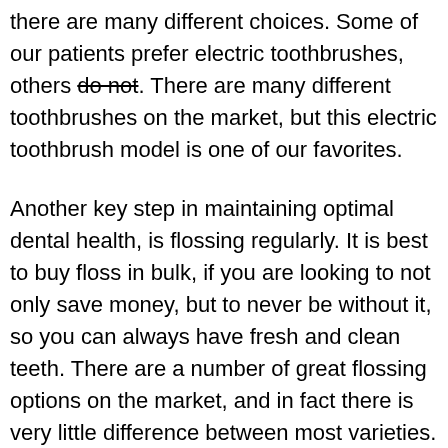there are many different choices. Some of our patients prefer electric toothbrushes, others do not. There are many different toothbrushes on the market, but this electric toothbrush model is one of our favorites.
Another key step in maintaining optimal dental health, is flossing regularly. It is best to buy floss in bulk, if you are looking to not only save money, but to never be without it, so you can always have fresh and clean teeth. There are a number of great flossing options on the market, and in fact there is very little difference between most varieties. One of our favorites can be found here.